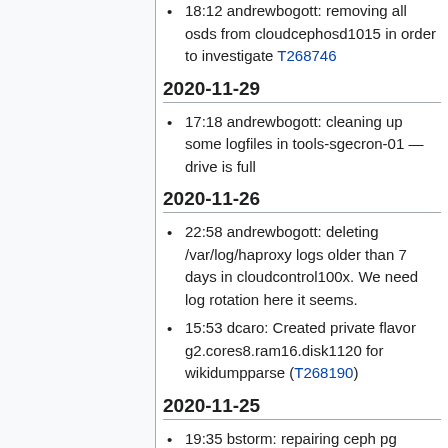18:12 andrewbogott: removing all osds from cloudcephosd1015 in order to investigate T268746
2020-11-29
17:18 andrewbogott: cleaning up some logfiles in tools-sgecron-01 — drive is full
2020-11-26
22:58 andrewbogott: deleting /var/log/haproxy logs older than 7 days in cloudcontrol100x. We need log rotation here it seems.
15:53 dcaro: Created private flavor g2.cores8.ram16.disk1120 for wikidumpparse (T268190)
2020-11-25
19:35 bstorm: repairing ceph pg instructing pg 6.91 on osd.117 to...